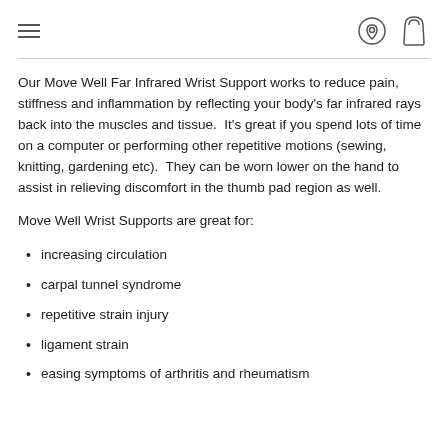Navigation header with hamburger menu and icons
Our Move Well Far Infrared Wrist Support works to reduce pain, stiffness and inflammation by reflecting your body's far infrared rays back into the muscles and tissue. It's great if you spend lots of time on a computer or performing other repetitive motions (sewing, knitting, gardening etc). They can be worn lower on the hand to assist in relieving discomfort in the thumb pad region as well.
Move Well Wrist Supports are great for:
increasing circulation
carpal tunnel syndrome
repetitive strain injury
ligament strain
easing symptoms of arthritis and rheumatism